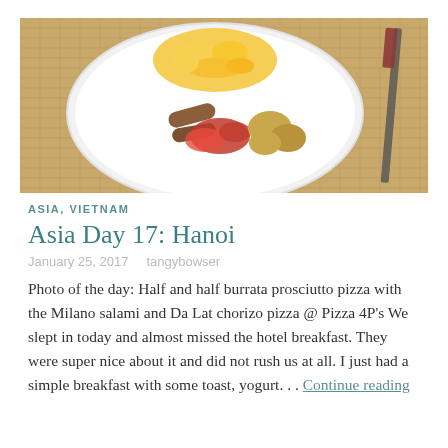[Figure (photo): Overhead photo of a white plate with scrambled eggs, sausages, roasted red peppers, and small potatoes on a woven mat background, with a knife visible on the right side.]
ASIA, VIETNAM
Asia Day 17: Hanoi
January 25, 2017    tangybowser
Photo of the day: Half and half burrata prosciutto pizza with the Milano salami and Da Lat chorizo pizza @ Pizza 4P's We slept in today and almost missed the hotel breakfast. They were super nice about it and did not rush us at all. I just had a simple breakfast with some toast, yogurt. . . Continue reading